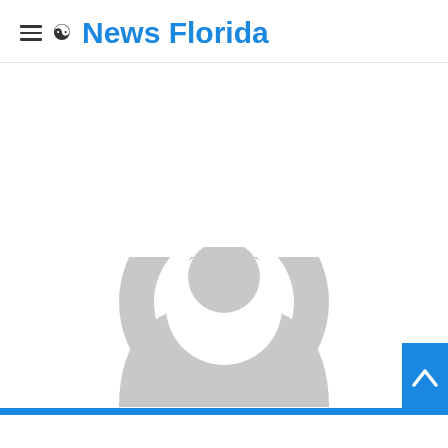≡ ☾ News Florida
[Figure (illustration): Gray default user avatar/profile icon — circular silhouette with head and shoulders shape on white background]
[Figure (other): Blue scroll-to-top button with upward chevron arrow in bottom-right corner]